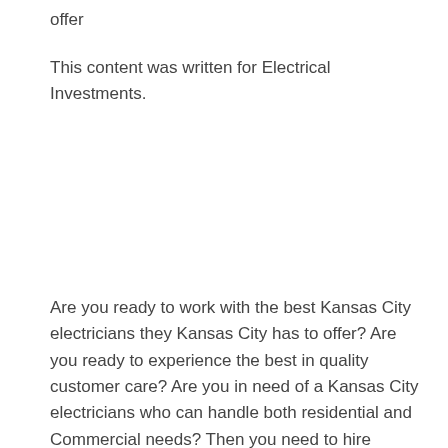offer
This content was written for Electrical Investments.
Are you ready to work with the best Kansas City electricians they Kansas City has to offer? Are you ready to experience the best in quality customer care? Are you in need of a Kansas City electricians who can handle both residential and Commercial needs? Then you need to hire electrical Investments. We have been serving the area for over 20 years that are excited to